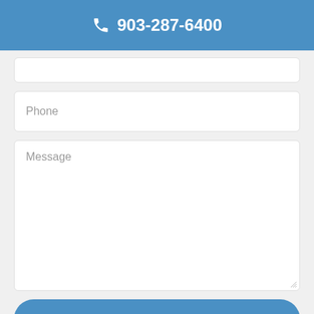903-287-6400
Phone
Message
Send Message